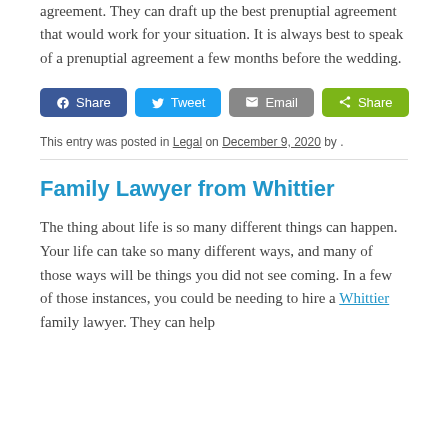agreement. They can draft up the best prenuptial agreement that would work for your situation. It is always best to speak of a prenuptial agreement a few months before the wedding.
[Figure (infographic): Row of four social sharing buttons: Facebook Share (blue), Twitter Tweet (light blue), Email (gray), Share (green)]
This entry was posted in Legal on December 9, 2020 by .
Family Lawyer from Whittier
The thing about life is so many different things can happen. Your life can take so many different ways, and many of those ways will be things you did not see coming. In a few of those instances, you could be needing to hire a Whittier family lawyer. They can help